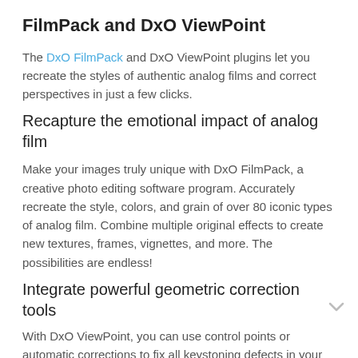FilmPack and DxO ViewPoint
The DxO FilmPack and DxO ViewPoint plugins let you recreate the styles of authentic analog films and correct perspectives in just a few clicks.
Recapture the emotional impact of analog film
Make your images truly unique with DxO FilmPack, a creative photo editing software program. Accurately recreate the style, colors, and grain of over 80 iconic types of analog film. Combine multiple original effects to create new textures, frames, vignettes, and more. The possibilities are endless!
Integrate powerful geometric correction tools
With DxO ViewPoint, you can use control points or automatic corrections to fix all keystoning defects in your